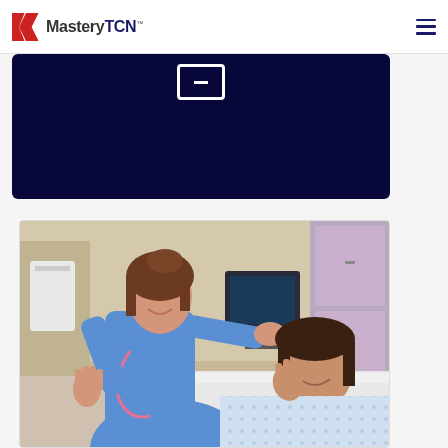MasteryTCN
[Figure (screenshot): Dark navy blue video/media block with a white bordered rectangle icon (video player icon) at the top center, against a very dark navy background]
[Figure (photo): Photograph of a smiling nurse in blue scrubs with a pink stethoscope giving a high-five to a young female patient lying in a hospital bed. Hospital room background with medical equipment visible.]